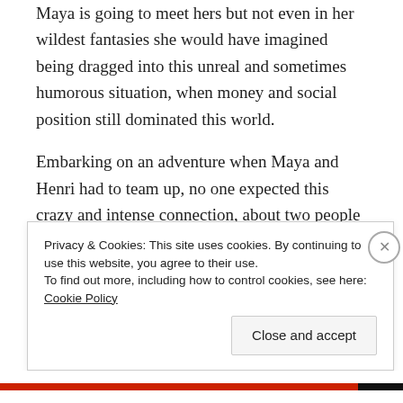Maya is going to meet hers but not even in her wildest fantasies she would have imagined being dragged into this unreal and sometimes humorous situation, when money and social position still dominated this world.
Embarking on an adventure when Maya and Henri had to team up, no one expected this crazy and intense connection, about two people from different worlds and in between love in the way. Romance, romance, … but Prince Henri was trouble with a capital A, with a reputation that precedes him. Sometimes, there's
Privacy & Cookies: This site uses cookies. By continuing to use this website, you agree to their use.
To find out more, including how to control cookies, see here: Cookie Policy
Close and accept